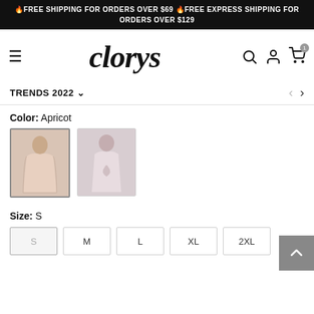🔥FREE SHIPPING FOR ORDERS OVER $69 🔥FREE EXPRESS SHIPPING FOR ORDERS OVER $129
clorys
TRENDS 2022
Color: Apricot
Size: S
S  M  L  XL  2XL